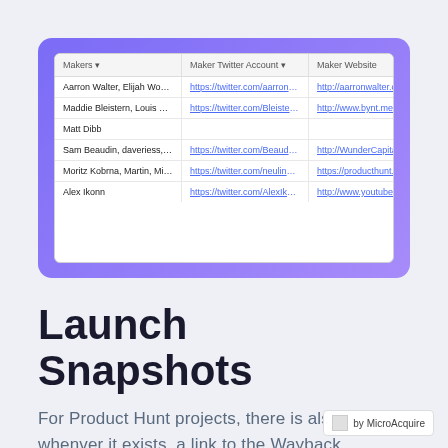[Figure (screenshot): Screenshot of a data table showing Makers, Maker Twitter Account, and Maker Website columns with rows for various makers including Aarron Walter/Elijah Wool, Maddie Bleistern/Louis Co, Matt Dibb, Sam Beaudin/daveriess/ily, Moritz Kobrna/Martin/Mic, and Alex Ikonn, displayed inside a purple gradient card.]
Launch Snapshots
For Product Hunt projects, there is also, whenver it exists, a link to the Wayback machine snapshot at launch date
by MicroAcquire